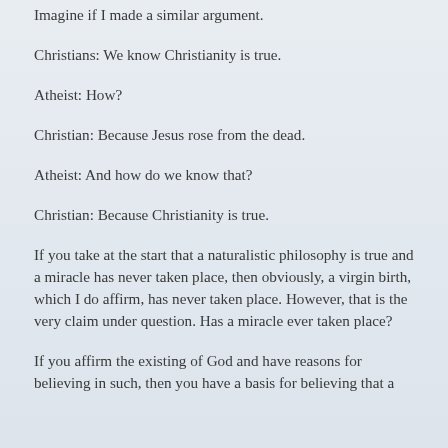Imagine if I made a similar argument.
Christians: We know Christianity is true.
Atheist: How?
Christian: Because Jesus rose from the dead.
Atheist: And how do we know that?
Christian: Because Christianity is true.
If you take at the start that a naturalistic philosophy is true and a miracle has never taken place, then obviously, a virgin birth, which I do affirm, has never taken place. However, that is the very claim under question. Has a miracle ever taken place?
If you affirm the existing of God and have reasons for believing in such, then you have a basis for believing that a